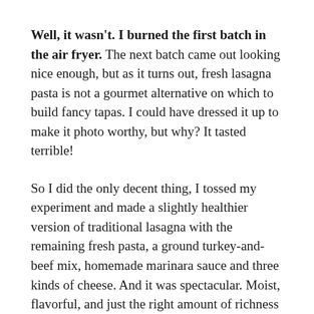Well, it wasn't. I burned the first batch in the air fryer. The next batch came out looking nice enough, but as it turns out, fresh lasagna pasta is not a gourmet alternative on which to build fancy tapas. I could have dressed it up to make it photo worthy, but why? It tasted terrible!
So I did the only decent thing, I tossed my experiment and made a slightly healthier version of traditional lasagna with the remaining fresh pasta, a ground turkey-and-beef mix, homemade marinara sauce and three kinds of cheese. And it was spectacular. Moist, flavorful, and just the right amount of richness to taste slightly decadent. I devoured the